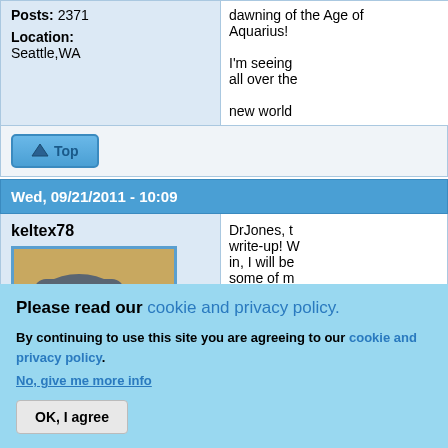Posts: 2371
Location: Seattle,WA
dawning of the Age of Aquarius! I'm seeing all over the new world
Top
Wed, 09/21/2011 - 10:09
keltex78
[Figure (photo): Avatar image showing a squirrel sitting on a tombstone engraved with 'SQUIRREL']
DrJones, t write-up! W in, I will be some of m reviewing
Please read our cookie and privacy policy.
By continuing to use this site you are agreeing to our cookie and privacy policy. No, give me more info
OK, I agree